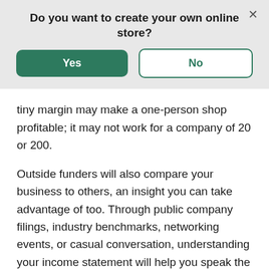Do you want to create your own online store?
[Figure (screenshot): Dialog box with Yes (green filled button) and No (white outlined button) options, and a close X in the top right corner]
tiny margin may make a one-person shop profitable; it may not work for a company of 20 or 200.
Outside funders will also compare your business to others, an insight you can take advantage of too. Through public company filings, industry benchmarks, networking events, or casual conversation, understanding your income statement will help you speak the same language as your fellow founders.